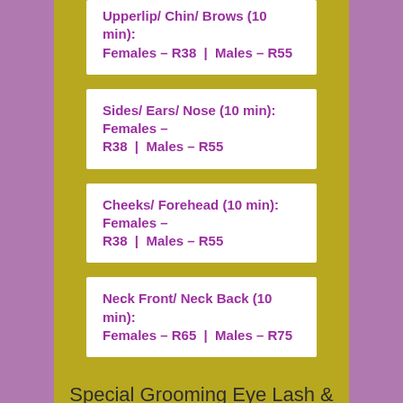Upperlip/ Chin/ Brows (10 min): Females – R38 | Males – R55
Sides/ Ears/ Nose (10 min): Females – R38 | Males – R55
Cheeks/ Forehead (10 min): Females – R38 | Males – R55
Neck Front/ Neck Back (10 min): Females – R65 | Males – R75
Special Grooming Eye Lash & Brow Tint